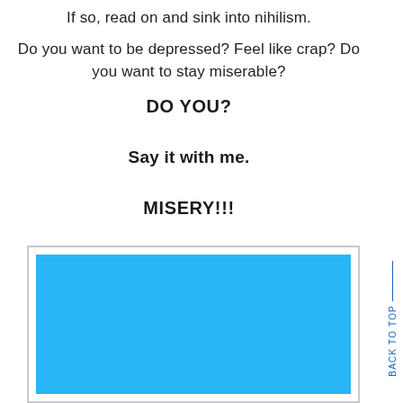If so, read on and sink into nihilism.
Do you want to be depressed? Feel like crap? Do you want to stay miserable?
DO YOU?
Say it with me.
MISERY!!!
HELL YEAH!!!
[Figure (other): Blue rectangular image embedded in a light gray bordered frame at the bottom of the page]
BACK TO TOP